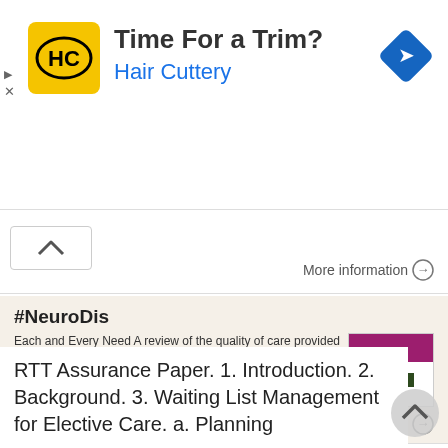[Figure (infographic): Hair Cuttery advertisement banner with logo, headline 'Time For a Trim?' and a navigation arrow icon]
More information →
#NeuroDis
Each and Every Need A review of the quality of care provided to patients aged 0-25 years old with chronic neurodisability, using the cerebral palsies as examples of chronic neurodisabling conditions Recommendations
More information →
RTT Assurance Paper. 1. Introduction. 2. Background. 3. Waiting List Management for Elective Care. a. Planning